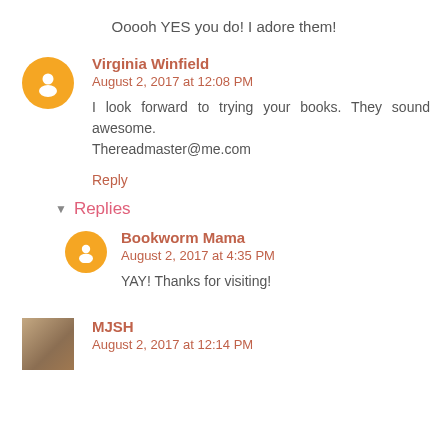Ooooh YES you do! I adore them!
Virginia Winfield
August 2, 2017 at 12:08 PM
I look forward to trying your books. They sound awesome.
Thereadmaster@me.com
Reply
Replies
Bookworm Mama
August 2, 2017 at 4:35 PM
YAY! Thanks for visiting!
MJSH
August 2, 2017 at 12:14 PM